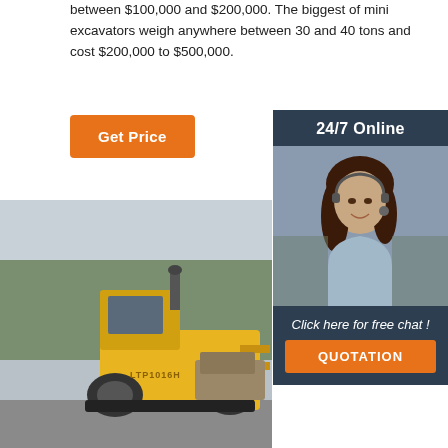between $100,000 and $200,000. The biggest of mini excavators weigh anywhere between 30 and 40 tons and cost $200,000 to $500,000.
[Figure (other): Orange 'Get Price' button]
[Figure (other): Dark blue sidebar with '24/7 Online' header, photo of woman with headset, 'Click here for free chat!' text, and orange 'QUOTATION' button]
[Figure (photo): Large yellow forklift/heavy equipment vehicle (LTP1016H) photographed outdoors with trees in background]